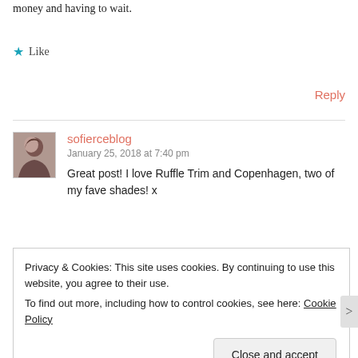money and having to wait.
★ Like
Reply
sofierceblog
January 25, 2018 at 7:40 pm
Great post! I love Ruffle Trim and Copenhagen, two of my fave shades! x
Privacy & Cookies: This site uses cookies. By continuing to use this website, you agree to their use.
To find out more, including how to control cookies, see here: Cookie Policy
Close and accept